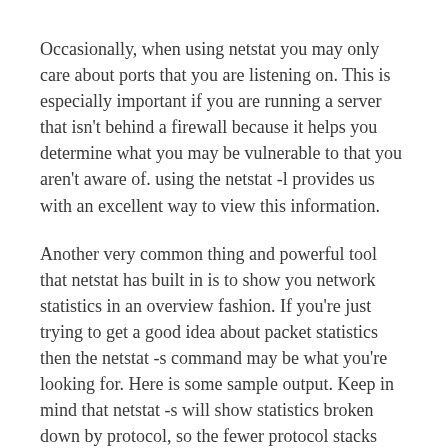Occasionally, when using netstat you may only care about ports that you are listening on. This is especially important if you are running a server that isn't behind a firewall because it helps you determine what you may be vulnerable to that you aren't aware of. using the netstat -l provides us with an excellent way to view this information.
Another very common thing and powerful tool that netstat has built in is to show you network statistics in an overview fashion. If you're just trying to get a good idea about packet statistics then the netstat -s command may be what you're looking for. Here is some sample output. Keep in mind that netstat -s will show statistics broken down by protocol, so the fewer protocol stacks you are running the more compacted this summary will be.
Another extremely useful tool for server administrators who are trying to track down processes that have run amuck is